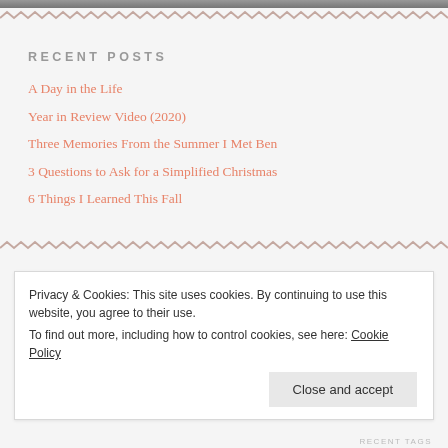RECENT POSTS
A Day in the Life
Year in Review Video (2020)
Three Memories From the Summer I Met Ben
3 Questions to Ask for a Simplified Christmas
6 Things I Learned This Fall
Privacy & Cookies: This site uses cookies. By continuing to use this website, you agree to their use.
To find out more, including how to control cookies, see here: Cookie Policy
Close and accept